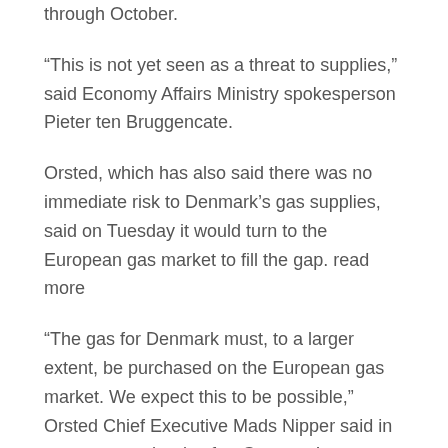through October.
“This is not yet seen as a threat to supplies,” said Economy Affairs Ministry spokesperson Pieter ten Bruggencate.
Orsted, which has also said there was no immediate risk to Denmark’s gas supplies, said on Tuesday it would turn to the European gas market to fill the gap. read more
“The gas for Denmark must, to a larger extent, be purchased on the European gas market. We expect this to be possible,” Orsted Chief Executive Mads Nipper said in a statement shortly after Gazprom’s announcement.
The benchmark front-month gas contract rose around 5% on Tuesday afternoon to around 91.05 euros/MWh but remained well below highs over 300 euros/MWh hit in early March.
“While the market was largely expecting both companies to be cut